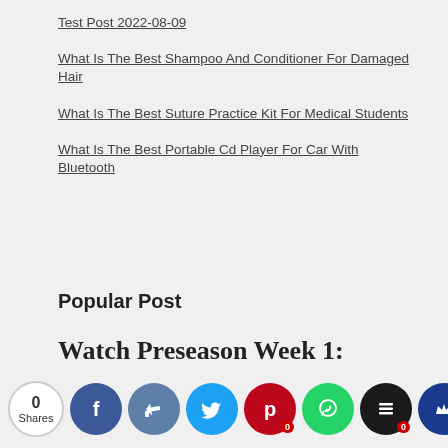Test Post 2022-08-09
What Is The Best Shampoo And Conditioner For Damaged Hair
What Is The Best Suture Practice Kit For Medical Students
What Is The Best Portable Cd Player For Car With Bluetooth
Popular Post
Watch Preseason Week 1: Patriots Vs. Giants Live Streaming Online Free